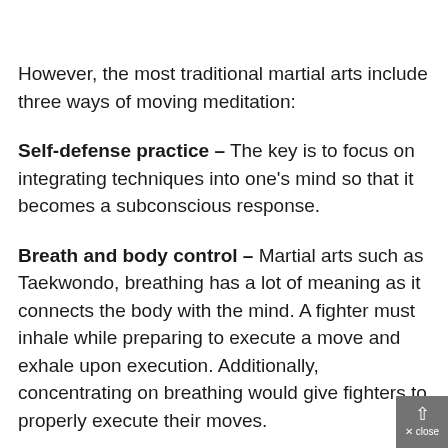However, the most traditional martial arts include three ways of moving meditation:
Self-defense practice – The key is to focus on integrating techniques into one's mind so that it becomes a subconscious response.
Breath and body control – Martial arts such as Taekwondo, breathing has a lot of meaning as it connects the body with the mind. A fighter must inhale while preparing to execute a move and exhale upon execution. Additionally, concentrating on breathing would give fighters to properly execute their moves.